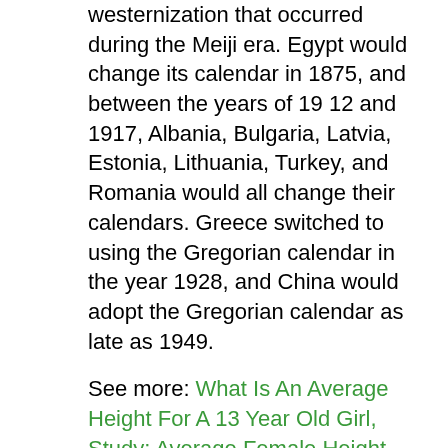westernization that occurred during the Meiji era. Egypt would change its calendar in 1875, and between the years of 19 12 and 1917, Albania, Bulgaria, Latvia, Estonia, Lithuania, Turkey, and Romania would all change their calendars. Greece switched to using the Gregorian calendar in the year 1928, and China would adopt the Gregorian calendar as late as 1949.
See more: What Is An Average Height For A 13 Year Old Girl, Study: Average Female Height
Many countries in the world still have their own unique calendar systems that they may use in addition to the Gregorian calendar. For instance, Japan has a system of counting the years that uses certain eras or periods based on the life of the Emperor. This system is used in conjunction with the Gregorian calendar in Japan.